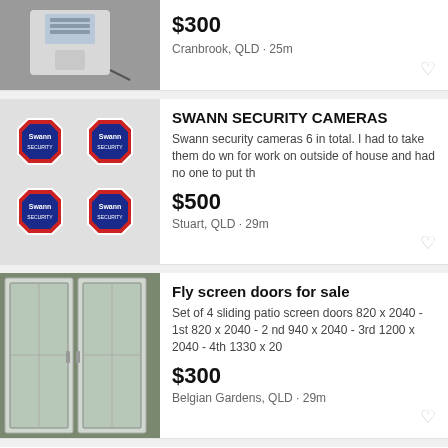[Figure (photo): White portable air conditioner unit with black cord]
$300
Cranbrook, QLD · 25m
[Figure (photo): Four Swann Security octagonal sticker signs]
SWANN SECURITY CAMERAS
Swann security cameras 6 in total. I had to take them down for work on outside of house and had no one to put th
$500
Stuart, QLD · 29m
[Figure (photo): White sliding fly screen door set]
Fly screen doors for sale
Set of 4 sliding patio screen doors 820 x 2040 - 1st 820 x 2040 - 2 nd 940 x 2040 - 3rd 1200 x 2040 - 4th 1330 x 20
$300
Belgian Gardens, QLD · 29m
Meat Processing Cleaner - Townsville QLD
Hourly Rate
Part-time
Townsville, QLD · 32m
[Figure (photo): Boat seat against brick wall background]
Boat Seat for Tinnie with swivel clamp, 1...
Alloy Boats